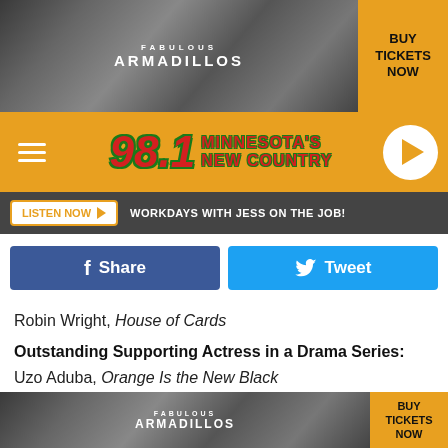[Figure (photo): Top advertisement banner for Fabulous Armadillos with 'Buy Tickets Now' yellow button on black background]
[Figure (logo): 98.1 Minnesota's New Country radio station logo on orange/gold background with hamburger menu and play button]
LISTEN NOW ▶  WORKDAYS WITH JESS ON THE JOB!
[Figure (infographic): Facebook Share button (dark blue) and Twitter Tweet button (light blue)]
Robin Wright, House of Cards
Outstanding Supporting Actress in a Drama Series:
Uzo Aduba, Orange Is the New Black
Millie Bobby Brown, Stranger Things
Ann Dowd, The Handmaid's Tale
Chrissy Metz, This Is Us
[Figure (photo): Bottom advertisement banner for Fabulous Armadillos with 'Buy Tickets Now' yellow button]